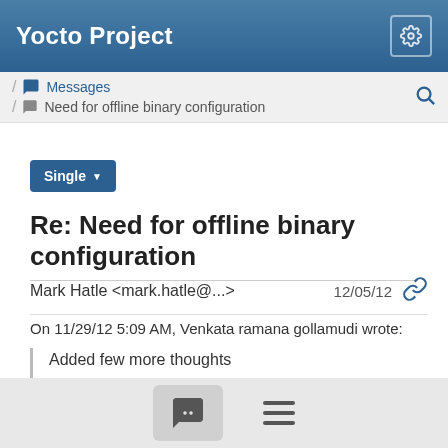Yocto Project
/ Messages / Need for offline binary configuration
Single
Re: Need for offline binary configuration
Mark Hatle <mark.hatle@...>  12/05/12
On 11/29/12 5:09 AM, Venkata ramana gollamudi wrote:
Added few more thoughts
Looking for possible options to implement Offline Configuration Tool requirement. please check and comment on it.